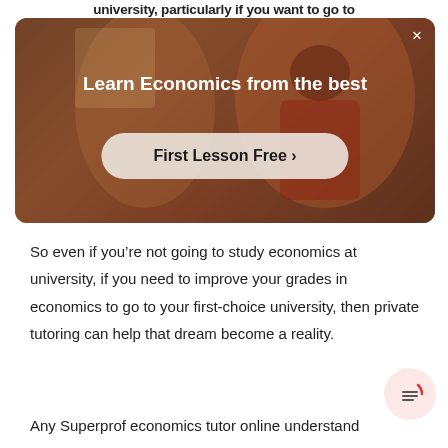university, particularly if you want to go to
[Figure (screenshot): Advertisement banner for Superprof tutoring service. Dark reddish-brown background with a person in a red shirt. Title: 'Learn Economics from the best'. Button: 'First Lesson Free ›'. Close button (×) in top-right corner.]
So even if you're not going to study economics at university, if you need to improve your grades in economics to go to your first-choice university, then private tutoring can help that dream become a reality.
Any Superprof economics tutor online understand how to...